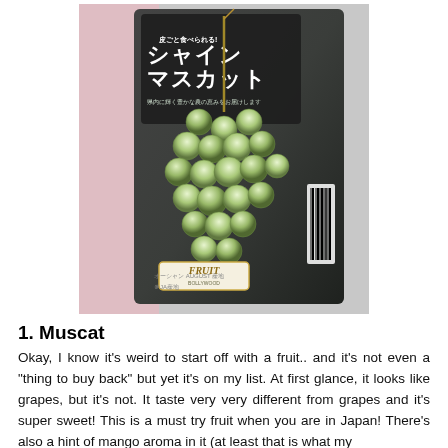[Figure (photo): A package of Japanese Shine Muscat grapes (シャインマスカット) in a black plastic tray with Japanese text on the packaging and a 'FRUIT' label sticker visible. The grapes are large, round, and bright green. The package is photographed from above inside a plastic bag.]
1. Muscat
Okay, I know it's weird to start off with a fruit.. and it's not even a "thing to buy back" but yet it's on my list. At first glance, it looks like grapes, but it's not. It taste very very different from grapes and it's super sweet! This is a must try fruit when you are in Japan! There's also a hint of mango aroma in it (at least that is what my